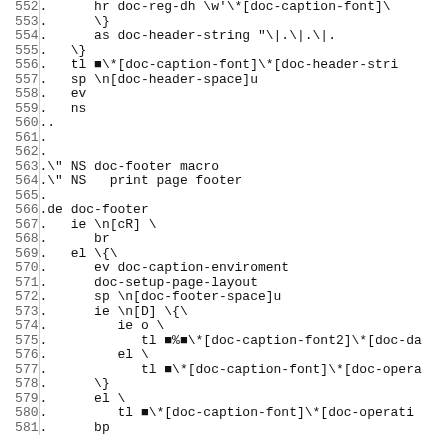Code listing lines 552-581 showing groff/troff macro definitions for doc-footer and related routines
| line | code |
| --- | --- |
| 552 | .      hr doc-reg-dh \w'\*[doc-caption-font]\ |
| 553 | .      \} |
| 554 | .      as doc-header-string "\|.\|.\|. |
| 555 | .   \} |
| 556 | .   tl ■\*[doc-caption-font]\*[doc-header-stri |
| 557 | .   sp \n[doc-header-space]u |
| 558 | .   ev |
| 559 | .   ns |
| 560 | .. |
| 561 | . |
| 562 | . |
| 563 | .\" NS doc-footer macro |
| 564 | .\" NS   print page footer |
| 565 | . |
| 566 | .de doc-footer |
| 567 | .   ie \n[cR] \ |
| 568 | .      br |
| 569 | .   el \{\ |
| 570 | .      ev doc-caption-enviroment |
| 571 | .      doc-setup-page-layout |
| 572 | .      sp \n[doc-footer-space]u |
| 573 | .      ie \n[D] \{\ |
| 574 | .         ie o \ |
| 575 | .            tl ■%■\*[doc-caption-font2]\*[doc-da |
| 576 | .         el \ |
| 577 | .            tl ■\*[doc-caption-font]\*[doc-opera |
| 578 | .      \} |
| 579 | .      el \ |
| 580 | .         tl ■\*[doc-caption-font]\*[doc-operati |
| 581 | .      bp |